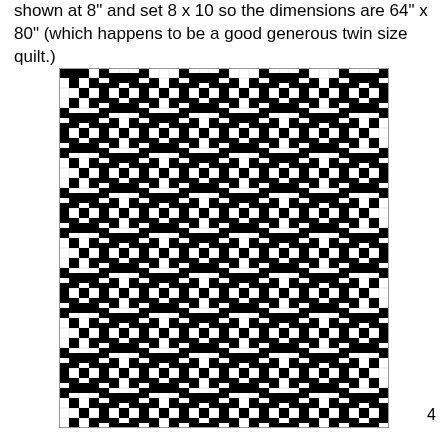shown at 8" and set 8 x 10 so the dimensions are 64" x 80" (which happens to be a good generous twin size quilt.)
[Figure (illustration): A black and white quilt pattern diagram showing a grid with repeated diamond and circle/ring motifs. The pattern consists of alternating diagonal lines of black squares forming X and diamond shapes, with circular ring patterns in the center of each diamond cell. The grid is 8 columns wide and 10 rows tall of repeating quilt block units.]
4